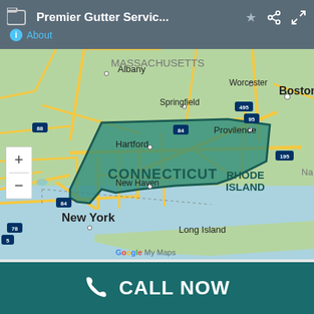Premier Gutter Servic... About
[Figure (map): Google My Maps screenshot showing a map of the northeastern United States. A teal-shaded polygon covers Connecticut and Rhode Island, highlighting the service area. Visible labels include Massachusetts, Boston, Worcester, Springfield, Albany, Hartford, New Haven, Providence, Connecticut, Rhode Island, New York, Long Island. Interstate route markers 88, 84, 495, 95, 195, 78 visible. Zoom controls (+ and -) in bottom-left corner. Google My Maps watermark at bottom center.]
CALL NOW